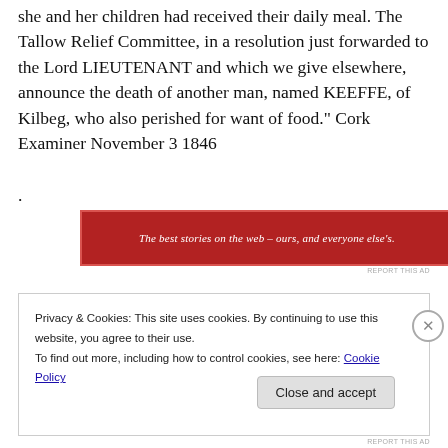she and her children had received their daily meal. The Tallow Relief Committee, in a resolution just forwarded to the Lord LIEUTENANT and which we give elsewhere, announce the death of another man, named KEEFFE, of Kilbeg, who also perished for want of food." Cork Examiner November 3 1846
.
[Figure (other): Red advertisement banner with white italic text: 'The best stories on the web – ours, and everyone else's.']
REPORT THIS AD
Privacy & Cookies: This site uses cookies. By continuing to use this website, you agree to their use.
To find out more, including how to control cookies, see here: Cookie Policy